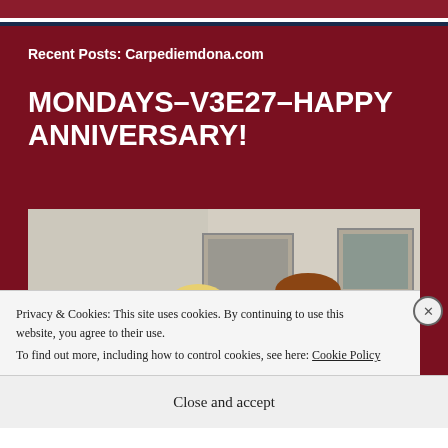Recent Posts: Carpediemdona.com
MONDAYS-V3E27-HAPPY ANNIVERSARY!
[Figure (photo): Two people indoors, a woman with blonde hair and a man with auburn hair, standing in front of framed pictures on a wall. The image is partially obscured by a cookie consent overlay.]
Privacy & Cookies: This site uses cookies. By continuing to use this website, you agree to their use.
To find out more, including how to control cookies, see here: Cookie Policy
Close and accept